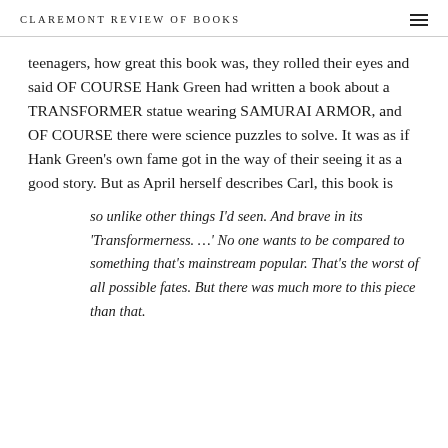CLAREMONT REVIEW OF BOOKS
teenagers, how great this book was, they rolled their eyes and said OF COURSE Hank Green had written a book about a TRANSFORMER statue wearing SAMURAI ARMOR, and OF COURSE there were science puzzles to solve. It was as if Hank Green's own fame got in the way of their seeing it as a good story. But as April herself describes Carl, this book is
so unlike other things I'd seen. And brave in its 'Transformerness. …' No one wants to be compared to something that's mainstream popular. That's the worst of all possible fates. But there was much more to this piece than that.